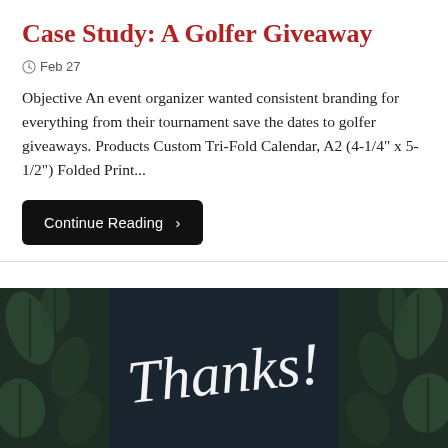Case Study: A Golfer Giveaway
Feb 27
Objective An event organizer wanted consistent branding for everything from their tournament save the dates to golfer giveaways. Products Custom Tri-Fold Calendar, A2 (4-1/4" x 5-1/2") Folded Print...
Continue Reading ›
[Figure (photo): Dark background photo showing the word 'Thanks!' in white handwritten script, with blurred green leaves visible on the left and right edges]